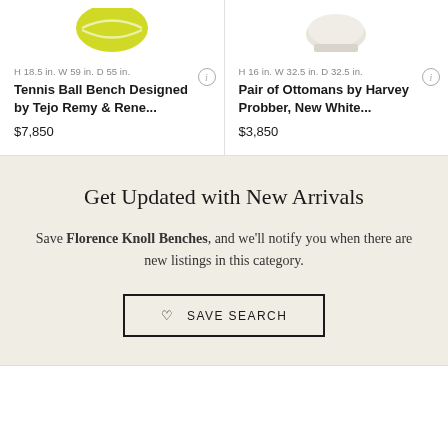[Figure (photo): Tennis ball bench product image, partially cropped at top, showing yellow-green tennis ball texture]
H 18.5 in. W 59 in. D 55 in.
Tennis Ball Bench Designed by Tejo Remy & Rene...
$7,850
[Figure (photo): Pair of ottomans product image, partially cropped at top, showing white fabric]
H 16 in. W 32.5 in. D 32.5 in.
Pair of Ottomans by Harvey Probber, New White...
$3,850
Get Updated with New Arrivals
Save Florence Knoll Benches, and we'll notify you when there are new listings in this category.
♡ SAVE SEARCH